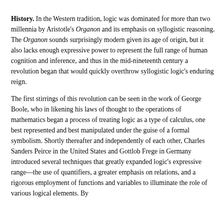History. In the Western tradition, logic was dominated for more than two millennia by Aristotle's Organon and its emphasis on syllogistic reasoning. The Organon sounds surprisingly modern given its age of origin, but it also lacks enough expressive power to represent the full range of human cognition and inference, and thus in the mid-nineteenth century a revolution began that would quickly overthrow syllogistic logic's enduring reign.
The first stirrings of this revolution can be seen in the work of George Boole, who in likening his laws of thought to the operations of mathematics began a process of treating logic as a type of calculus, one best represented and best manipulated under the guise of a formal symbolism. Shortly thereafter and independently of each other, Charles Sanders Peirce in the United States and Gottlob Frege in Germany introduced several techniques that greatly expanded logic's expressive range—the use of quantifiers, a greater emphasis on relations, and a rigorous employment of functions and variables to illuminate the role of various logical elements. By